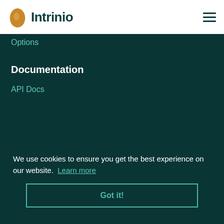Intrinio
Options
Documentation
API Docs
We use cookies to ensure you get the best experience on our website. Learn more
Got it!